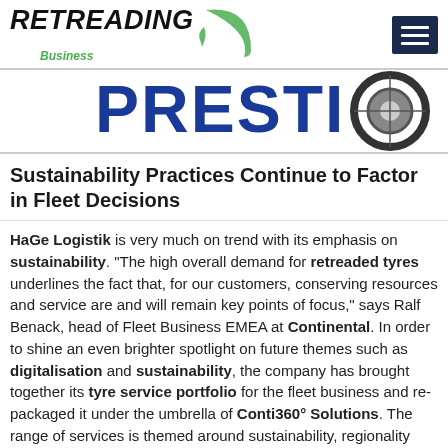RETREADING Business
[Figure (logo): PRESTI logo with tire image advertisement banner]
Sustainability Practices Continue to Factor in Fleet Decisions
HaGe Logistik is very much on trend with its emphasis on sustainability. “The high overall demand for retreaded tyres underlines the fact that, for our customers, conserving resources and service are and will remain key points of focus,” says Ralf Benack, head of Fleet Business EMEA at Continental. In order to shine an even brighter spotlight on future themes such as digitalisation and sustainability, the company has brought together its tyre service portfolio for the fleet business and re-packaged it under the umbrella of Conti360° Solutions. The range of services is themed around sustainability, regionality and quality, and